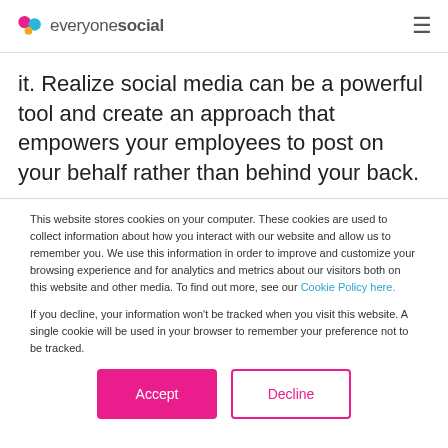EveryoneSocial logo and hamburger menu
it. Realize social media can be a powerful tool and create an approach that empowers your employees to post on your behalf rather than behind your back.
This website stores cookies on your computer. These cookies are used to collect information about how you interact with our website and allow us to remember you. We use this information in order to improve and customize your browsing experience and for analytics and metrics about our visitors both on this website and other media. To find out more, see our Cookie Policy here.
If you decline, your information won't be tracked when you visit this website. A single cookie will be used in your browser to remember your preference not to be tracked.
Accept | Decline